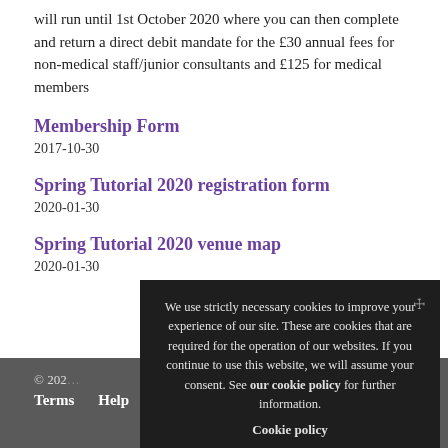will run until 1st October 2020 where you can then complete and return a direct debit mandate for the £30 annual fees for non-medical staff/junior consultants and £125 for medical members
Membership Form
2017-10-30
Spring Tutorial 2020 registration form
2020-01-30
Spring Tutorial 2020 venue map
2020-01-30
© 202…     Terms   Help   P…
We use strictly necessary cookies to improve your experience of our site. These are cookies that are required for the operation of our websites. If you continue to use this website, we will assume your consent. See our cookie policy for further information.
Cookie policy